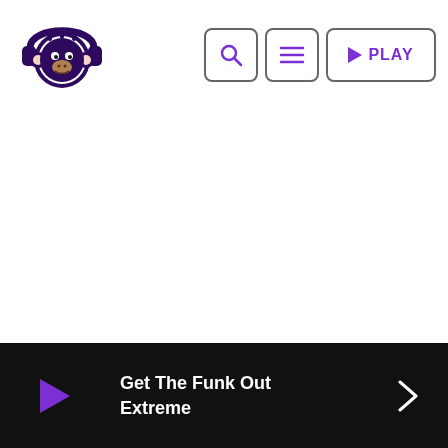[Figure (logo): Monkey wearing headphones logo in dark purple]
[Figure (screenshot): Navigation bar with search icon, hamburger menu icon, and PLAY button, all in purple on white background with rounded rectangle borders]
[Figure (screenshot): Bottom media player bar in black showing a purple play triangle icon on the left, song title 'Get The Funk Out Extreme' in white, and a right arrow chevron on the right]